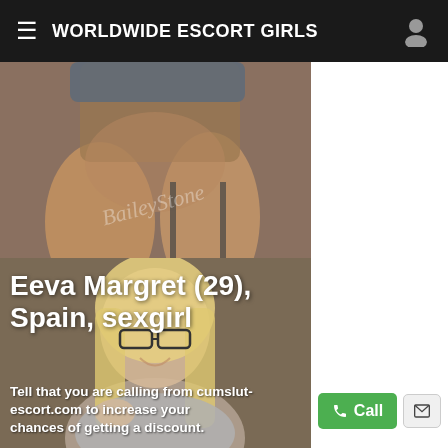WORLDWIDE ESCORT GIRLS
[Figure (photo): Cropped photo showing legs and lower body of a person against a brown/taupe background, with a watermark text]
[Figure (photo): Photo of a smiling blonde woman wearing glasses and a grey top, against a brown background]
Eeva Margret (29), Spain, sexgirl
Tell that you are calling from cumslut-escort.com to increase your chances of getting a discount.